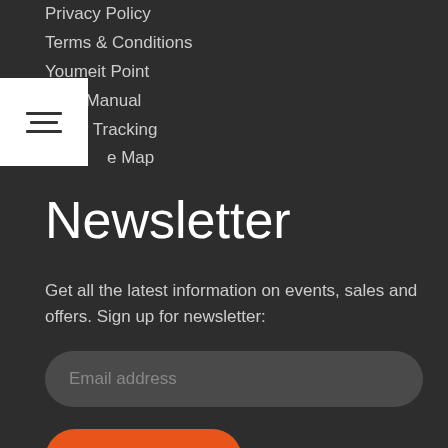Privacy Policy
Terms & Conditions
Youmeit Point
User Manual
Order Tracking
Site Map
Newsletter
Get all the latest information on events, sales and offers. Sign up for newsletter:
Email address
SUBSCRIBE